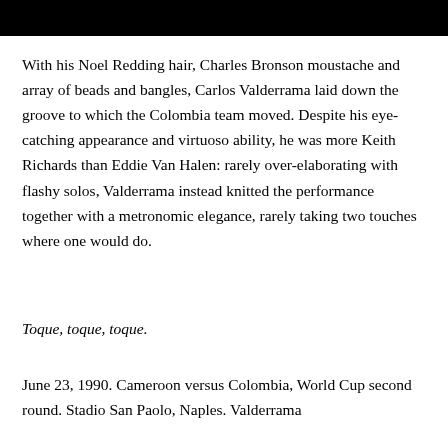game, a source of music.
With his Noel Redding hair, Charles Bronson moustache and array of beads and bangles, Carlos Valderrama laid down the groove to which the Colombia team moved. Despite his eye-catching appearance and virtuoso ability, he was more Keith Richards than Eddie Van Halen: rarely over-elaborating with flashy solos, Valderrama instead knitted the performance together with a metronomic elegance, rarely taking two touches where one would do.
Toque, toque, toque.
June 23, 1990. Cameroon versus Colombia, World Cup second round. Stadio San Paolo, Naples. Valderrama